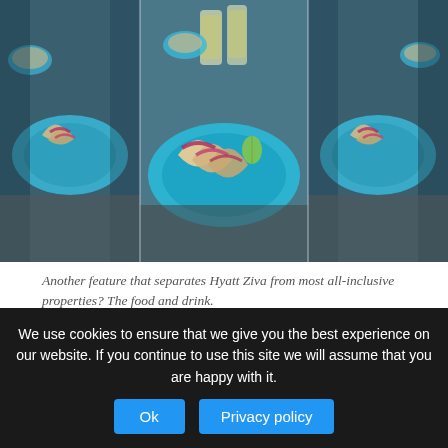[Figure (photo): Three-panel photo strip showing taco plates on blue plates with drinks on a table, center panel larger showing close-up of tacos with red cabbage slaw on a blue plate, side panels showing wider view of the same scene]
Another feature that separates Hyatt Ziva from most all-inclusive properties? The food and drink.
Another feature that separates Hyatt Ziva from most all-inclusive properties? The food and drink. With 16 restaurants, bars and lounges serving cuisine that ranges from traditional Mexican and French to Japanese and Italian,
We use cookies to ensure that we give you the best experience on our website. If you continue to use this site we will assume that you are happy with it.